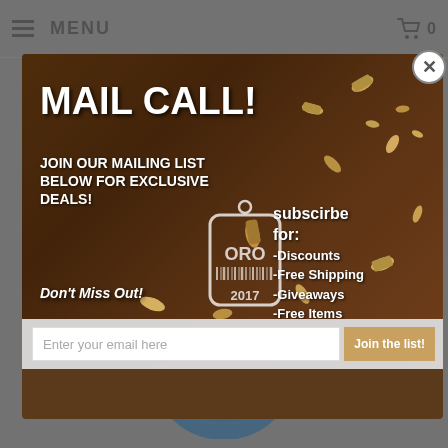MENU  0
GET 10% OFF WITH COUPON CODE: PROZA AT CHECKOUT
[Figure (screenshot): Popup modal overlay on a gun/firearms e-commerce website. The modal shows a 'Mail Call!' email signup promotion with bullets/ammunition scattered on wood background. Contains text: 'MAIL CALL! JOIN OUR MAILING LIST BELOW FOR EXCLUSIVE DEALS!', 'subscirbe for: -Discounts -Free Shipping -Giveaways -Free Items', 'Don't Miss Out!', a dog tag logo with 'ORO 2017', and an email signup form with 'Enter your email here' placeholder and 'Join the list!' button.]
[Figure (logo): Blue circular power button / on-off symbol icon, large, centered in the lower portion of the page background.]